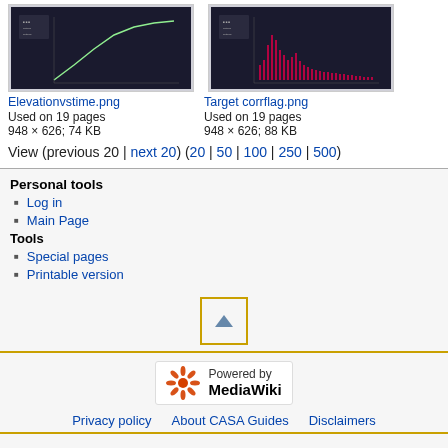[Figure (screenshot): Thumbnail of Elevationvstime.png showing a graph with green curve on dark background]
Elevationvstime.png
Used on 19 pages
948 × 626; 74 KB
[Figure (screenshot): Thumbnail of Target corrflag.png showing red frequency plot on dark background]
Target corrflag.png
Used on 19 pages
948 × 626; 88 KB
View (previous 20 | next 20) (20 | 50 | 100 | 250 | 500)
Personal tools
Log in
Main Page
Tools
Special pages
Printable version
[Figure (other): Back to top button with upward triangle arrow, gold border]
[Figure (logo): Powered by MediaWiki badge]
Privacy policy   About CASA Guides   Disclaimers